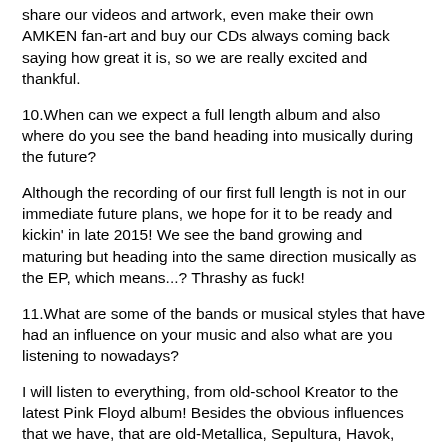share our videos and artwork, even make their own AMKEN fan-art and buy our CDs always coming back saying how great it is, so we are really excited and thankful.
10.When can we expect a full length album and also where do you see the band heading into musically during the future?
Although the recording of our first full length is not in our immediate future plans, we hope for it to be ready and kickin' in late 2015! We see the band growing and maturing but heading into the same direction musically as the EP, which means...? Thrashy as fuck!
11.What are some of the bands or musical styles that have had an influence on your music and also what are you listening to nowadays?
I will listen to everything, from old-school Kreator to the latest Pink Floyd album! Besides the obvious influences that we have, that are old-Metallica, Sepultura, Havok, Slayer - wouldn't say eh? (laughs), I personally adore musicians such